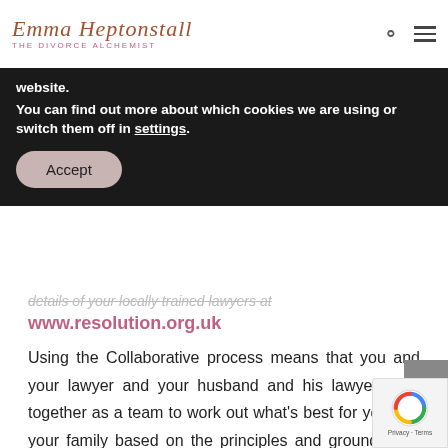Emma Heptonstall THE DIVORCE ALCHEMIST
website.
You can find out more about which cookies we are using or switch them off in settings.
Accept
details of your locally trained lawyers at
www.resolution.org.uk
Using the Collaborative process means that you and your lawyer and your husband and his lawyer work together as a team to work out what's best for you and your family based on the principles and ground rules which you draw up between you in a Participation Agreement. After each initially meeting with your lawyers individually, you will